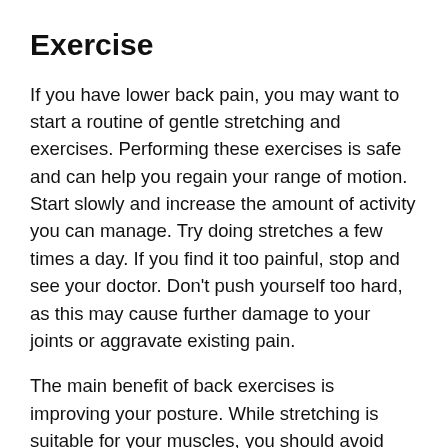Exercise
If you have lower back pain, you may want to start a routine of gentle stretching and exercises. Performing these exercises is safe and can help you regain your range of motion. Start slowly and increase the amount of activity you can manage. Try doing stretches a few times a day. If you find it too painful, stop and see your doctor. Don’t push yourself too hard, as this may cause further damage to your joints or aggravate existing pain.
The main benefit of back exercises is improving your posture. While stretching is suitable for your muscles, you should avoid activities that place undue stress on your back. Focus on